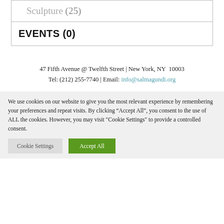| Sculpture (25) |
| EVENTS (0) |
47 Fifth Avenue @ Twelfth Street | New York, NY  10003
Tel: (212) 255-7740 | Email: info@salmagundi.org
We use cookies on our website to give you the most relevant experience by remembering your preferences and repeat visits. By clicking “Accept All”, you consent to the use of ALL the cookies. However, you may visit "Cookie Settings" to provide a controlled consent.